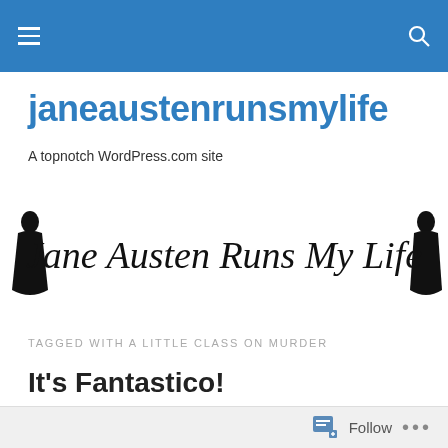Navigation bar with menu and search icons
janeaustenrunsmylife
A topnotch WordPress.com site
[Figure (illustration): Decorative cursive text logo reading 'Jane Austen Runs My Life' with silhouette figures on each end]
TAGGED WITH A LITTLE CLASS ON MURDER
It's Fantastico!
Follow ...